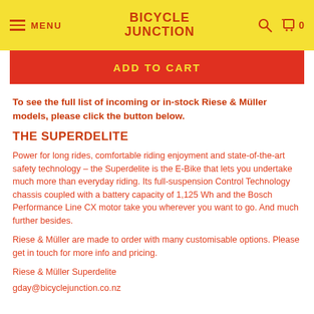MENU | BICYCLE JUNCTION | 0
ADD TO CART
To see the full list of incoming or in-stock Riese & Müller models, please click the button below.
THE SUPERDELITE
Power for long rides, comfortable riding enjoyment and state-of-the-art safety technology – the Superdelite is the E-Bike that lets you undertake much more than everyday riding. Its full-suspension Control Technology chassis coupled with a battery capacity of 1,125 Wh and the Bosch Performance Line CX motor take you wherever you want to go. And much further besides.
Riese & Müller are made to order with many customisable options. Please get in touch for more info and pricing.
Riese & Müller Superdelite
gday@bicyclejunction.co.nz